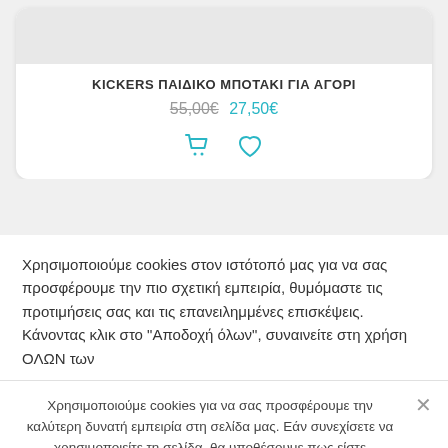[Figure (screenshot): Product card with image placeholder at top]
KICKERS ΠΑΙΔΙΚΟ ΜΠΟΤΑΚΙ ΓΙΑ ΑΓΟΡΙ
55,00€ 27,50€
[Figure (illustration): Shopping cart and heart icons in teal]
Χρησιμοποιούμε cookies στον ιστότοπό μας για να σας προσφέρουμε την πιο σχετική εμπειρία, θυμόμαστε τις προτιμήσεις σας και τις επανειλημμένες επισκέψεις. Κάνοντας κλικ στο "Αποδοχή όλων", συναινείτε στη χρήση ΟΛΩΝ των
Χρησιμοποιούμε cookies για να σας προσφέρουμε την καλύτερη δυνατή εμπειρία στη σελίδα μας. Εάν συνεχίσετε να χρησιμοποιείτε τη σελίδα, θα υποθέσουμε πως είστε ικανοποιημένοι με αυτό.
Εντάξει
Πολιτική απορρήτου